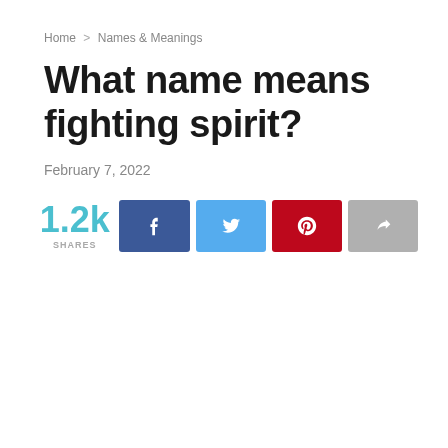Home > Names & Meanings
What name means fighting spirit?
February 7, 2022
1.2k SHARES